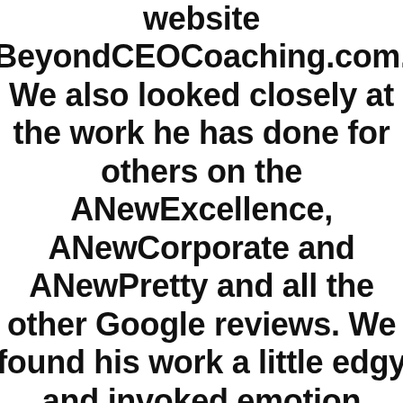website BeyondCEOCoaching.com. We also looked closely at the work he has done for others on the ANewExcellence, ANewCorporate and ANewPretty and all the other Google reviews. We found his work a little edgy and invoked emotion which we were looking for — beyond the standard website designs you get from others (he will give you the standard if you want it). He is